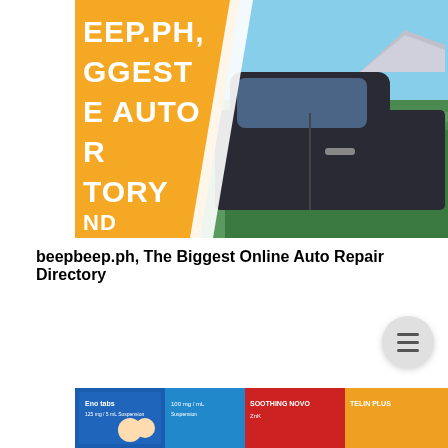[Figure (photo): A promotional banner image for beepbeep.ph showing bold white text on an orange diagonal overlay reading 'EEP.PH, GGEST E AUTO R TORY' and 'ND', alongside a photo of a dark car with its door open, set against a green field background.]
beepbeep.ph, The Biggest Online Auto Repair Directory
[Figure (photo): Partial view of medicine/pharmaceutical product boxes including blue and red packaging, partially visible at the bottom of the page.]